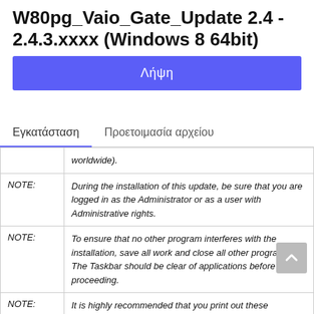W80pg_Vaio_Gate_Update 2.4 - 2.4.3.xxxx (Windows 8 64bit)
Λήψη
Εγκατάσταση	Προετοιμασία αρχείου
|  | worldwide). |
| NOTE: | During the installation of this update, be sure that you are logged in as the Administrator or as a user with Administrative rights. |
| NOTE: | To ensure that no other program interferes with the installation, save all work and close all other programs. The Taskbar should be clear of applications before proceeding. |
| NOTE: | It is highly recommended that you print out these instructions as a reference during the installation |